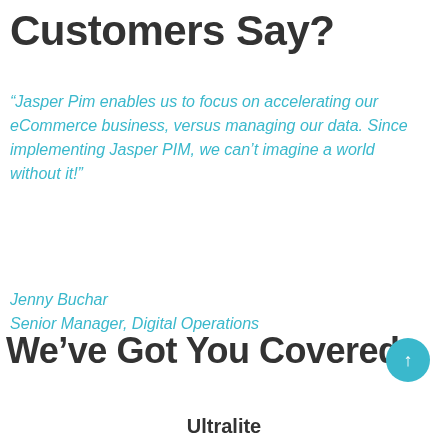Customers Say?
“Jasper Pim enables us to focus on accelerating our eCommerce business, versus managing our data. Since implementing Jasper PIM, we can’t imagine a world without it!”
Jenny Buchar
Senior Manager, Digital Operations
We’ve Got You Covered
Ultralite